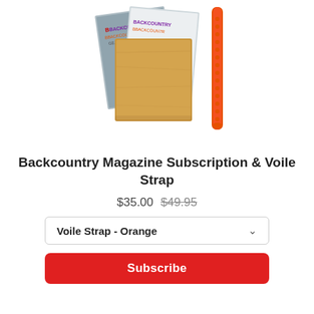[Figure (photo): Product photo showing Backcountry magazine issues, a brown paper bag/envelope, and an orange Voile strap with holes along its length, arranged together on a white background.]
Backcountry Magazine Subscription & Voile Strap
$35.00  $49.95
Voile Strap - Orange
Subscribe